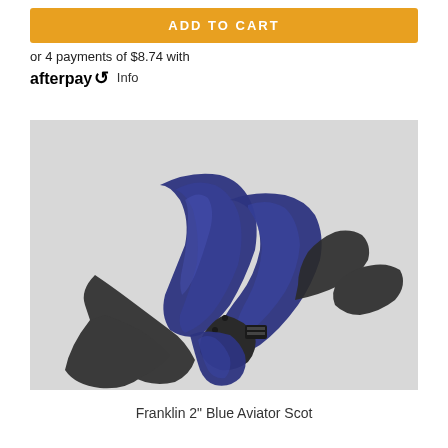ADD TO CART
or 4 payments of $8.74 with afterpay Info
[Figure (photo): Blue Aviator guitar strap with dark leather ends, coiled/folded on a light grey background]
Franklin 2" Blue Aviator Scot